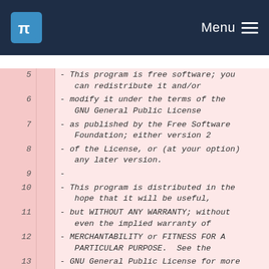KDE Menu
5  - This program is free software; you can redistribute it and/or
6  - modify it under the terms of the GNU General Public License
7  - as published by the Free Software Foundation; either version 2
8  - of the License, or (at your option) any later version.
9  -
10 - This program is distributed in the hope that it will be useful,
11 - but WITHOUT ANY WARRANTY; without even the implied warranty of
12 - MERCHANTABILITY or FITNESS FOR A PARTICULAR PURPOSE.  See the
13 - GNU General Public License for more details.
14 -
15 - You should have received a copy of the GNU General Public License